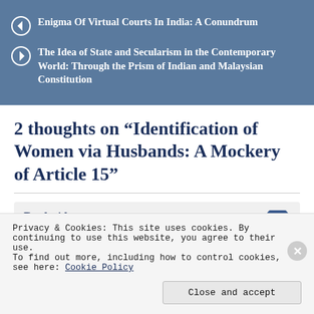Enigma Of Virtual Courts In India: A Conundrum
The Idea of State and Secularism in the Contemporary World: Through the Prism of Indian and Malaysian Constitution
2 thoughts on “Identification of Women via Husbands: A Mockery of Article 15”
Pankaj kumar
Privacy & Cookies: This site uses cookies. By continuing to use this website, you agree to their use.
To find out more, including how to control cookies, see here: Cookie Policy
Close and accept